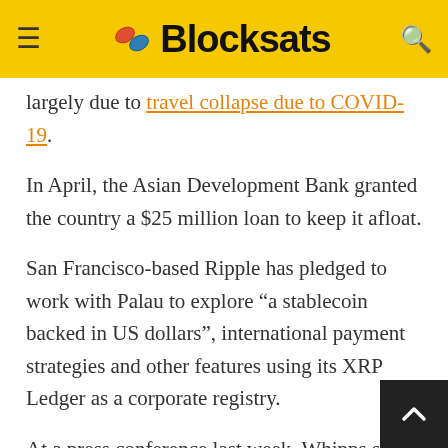Blocksats
largely due to travel collapse due to COVID-19.
In April, the Asian Development Bank granted the country a $25 million loan to keep it afloat.
San Francisco-based Ripple has pledged to work with Palau to explore “a stablecoin backed in US dollars”, international payment strategies and other features using its XRP Ledger as a corporate registry.
At a press conference last week, Whipps said he expects citizens to buy goods in stores with their phones and government officials to receive their